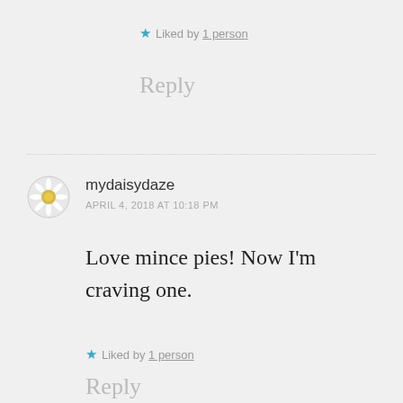★ Liked by 1 person
Reply
mydaisydaze
APRIL 4, 2018 AT 10:18 PM
Love mince pies! Now I'm craving one.
★ Liked by 1 person
Reply